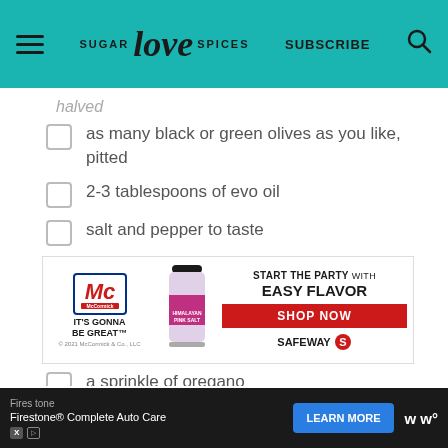SUGAR love SPICES | SUBSCRIBE
halved
as many black or green olives as you like, pitted
2-3 tablespoons of evo oil
salt and pepper to taste
[Figure (other): McCormick advertisement: IT'S GONNA BE GREAT. Start the party with Easy Flavor. Shop Now. Safeway.]
a sprinkle of oregano
Firestone. Firestone® Complete Auto Care. LEARN MORE